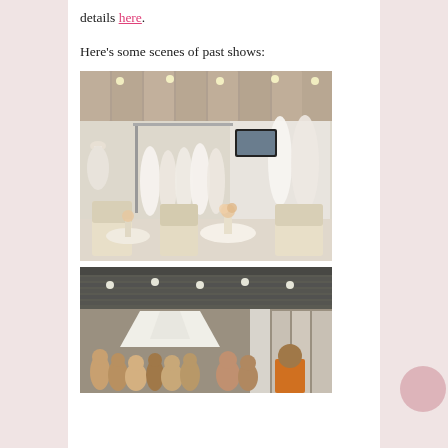details here.
Here's some scenes of past shows:
[Figure (photo): Indoor bridal show booth with white wedding dresses on mannequins and hangers, upholstered chairs, round tables with flower centerpieces, and a TV screen in the background.]
[Figure (photo): Interior of a large convention hall with a white tent booth and a crowd of attendees browsing vendors at a bridal show.]